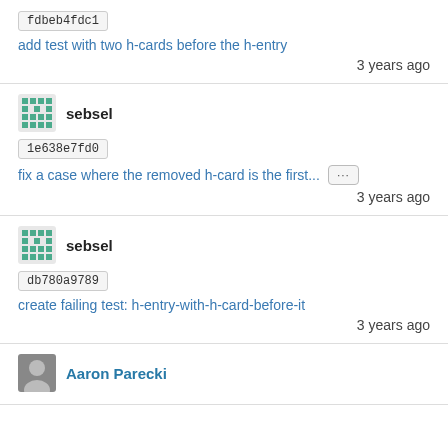fdbeb4fdc1
add test with two h-cards before the h-entry
3 years ago
sebsel
1e638e7fd0
fix a case where the removed h-card is the first...
3 years ago
sebsel
db780a9789
create failing test: h-entry-with-h-card-before-it
3 years ago
Aaron Parecki